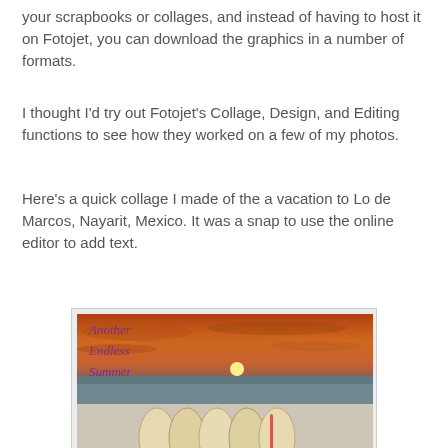your scrapbooks or collages, and instead of having to host it on Fotojet, you can download the graphics in a number of formats.
I thought I'd try out Fotojet's Collage, Design, and Editing functions to see how they worked on a few of my photos.
Here's a quick collage I made of the a vacation to Lo de Marcos, Nayarit, Mexico. It was a snap to use the online editor to add text.
[Figure (photo): A collage photo consisting of two images: top image shows a sunset over the ocean with purple cursive text reading 'Another Endless Summer'; bottom image shows surfboards leaning against a wall with red cursive text reading 'With our Boards'.]